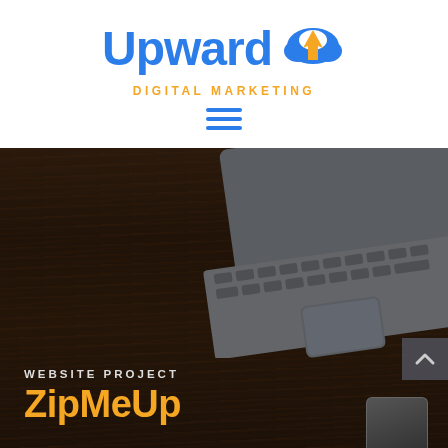[Figure (logo): Upward Digital Marketing logo — 'Upward' in bold blue text with a cloud-and-arrow icon in blue/orange, and 'DIGITAL MARKETING' subtitle in orange spaced letters]
[Figure (illustration): Hamburger menu icon — three horizontal blue lines centered below the logo]
[Figure (photo): Hero image: dark wood table background with a silver laptop visible in the upper right corner, and a smartphone partially visible at the bottom right]
WEBSITE PROJECT
ZipMeUp